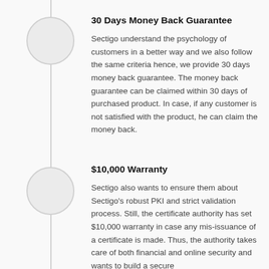30 Days Money Back Guarantee
Sectigo understand the psychology of customers in a better way and we also follow the same criteria hence, we provide 30 days money back guarantee. The money back guarantee can be claimed within 30 days of purchased product. In case, if any customer is not satisfied with the product, he can claim the money back.
$10,000 Warranty
Sectigo also wants to ensure them about Sectigo's robust PKI and strict validation process. Still, the certificate authority has set $10,000 warranty in case any mis-issuance of a certificate is made. Thus, the authority takes care of both financial and online security and wants to build a secure